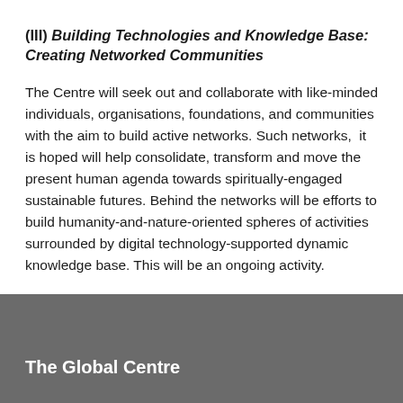(III) Building Technologies and Knowledge Base: Creating Networked Communities
The Centre will seek out and collaborate with like-minded individuals, organisations, foundations, and communities with the aim to build active networks. Such networks,  it is hoped will help consolidate, transform and move the present human agenda towards spiritually-engaged sustainable futures. Behind the networks will be efforts to build humanity-and-nature-oriented spheres of activities surrounded by digital technology-supported dynamic knowledge base. This will be an ongoing activity.
The Global Centre